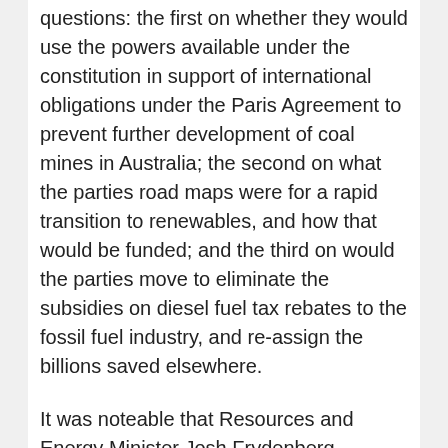questions: the first on whether they would use the powers available under the constitution in support of international obligations under the Paris Agreement to prevent further development of coal mines in Australia; the second on what the parties road maps were for a rapid transition to renewables, and how that would be funded; and the third on would the parties move to eliminate the subsidies on diesel fuel tax rebates to the fossil fuel industry, and re-assign the billions saved elsewhere.
It was noteable that Resources and Energy Minister Josh Frydenberg conceded that we have to ultimately transition away from coal.
Josh Frydenberg Mark Butter and least Bl...